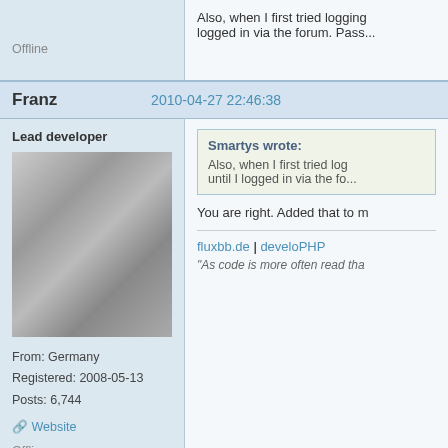Also, when I first tried logging in via the forum. Pass... logged in via the forum. Pass...
Offline
Franz
2010-04-27 22:46:38
Lead developer
[Figure (photo): Black and white photo of a young man smiling]
From: Germany
Registered: 2008-05-13
Posts: 6,744
Website
Smartys wrote:
Also, when I first tried logging in via the forum. Pass... until I logged in via the fo...
You are right. Added that to m...
fluxbb.de | develoPHP
"As code is more often read tha..."
Offline
Smartys
2010-04-27 22:48:09
Former Developer